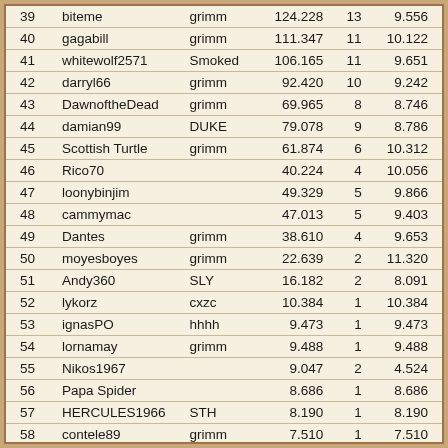| 39 | biteme | grimm | 124.228 | 13 | 9.556 |
| 40 | gagabill | grimm | 111.347 | 11 | 10.122 |
| 41 | whitewolf2571 | Smoked | 106.165 | 11 | 9.651 |
| 42 | darryl66 | grimm | 92.420 | 10 | 9.242 |
| 43 | DawnoftheDead | grimm | 69.965 | 8 | 8.746 |
| 44 | damian99 | DUKE | 79.078 | 9 | 8.786 |
| 45 | Scottish Turtle | grimm | 61.874 | 6 | 10.312 |
| 46 | Rico70 |  | 40.224 | 4 | 10.056 |
| 47 | loonybinjim |  | 49.329 | 5 | 9.866 |
| 48 | cammymac |  | 47.013 | 5 | 9.403 |
| 49 | Dantes | grimm | 38.610 | 4 | 9.653 |
| 50 | moyesboyes | grimm | 22.639 | 2 | 11.320 |
| 51 | Andy360 | SLY | 16.182 | 2 | 8.091 |
| 52 | lykorz | cxzc | 10.384 | 1 | 10.384 |
| 53 | ignasPO | hhhh | 9.473 | 1 | 9.473 |
| 54 | lornamay | grimm | 9.488 | 1 | 9.488 |
| 55 | Nikos1967 |  | 9.047 | 2 | 4.524 |
| 56 | Papa Spider |  | 8.686 | 1 | 8.686 |
| 57 | HERCULES1966 | STH | 8.190 | 1 | 8.190 |
| 58 | contele89 | grimm | 7.510 | 1 | 7.510 |